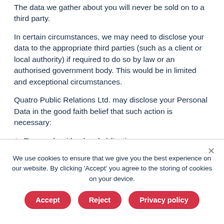The data we gather about you will never be sold on to a third party.
In certain circumstances, we may need to disclose your data to the appropriate third parties (such as a client or local authority) if required to do so by law or an authorised government body. This would be in limited and exceptional circumstances.
Quatro Public Relations Ltd. may disclose your Personal Data in the good faith belief that such action is necessary:
To comply with a legal obligation
We use cookies to ensure that we give you the best experience on our website. By clicking 'Accept' you agree to the storing of cookies on your device.